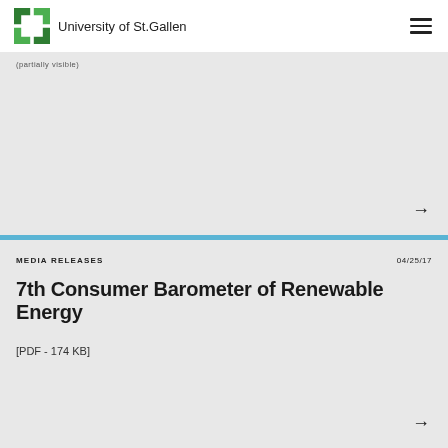University of St.Gallen
(partially visible text)
MEDIA RELEASES    04/25/17
7th Consumer Barometer of Renewable Energy
[PDF - 174 KB]